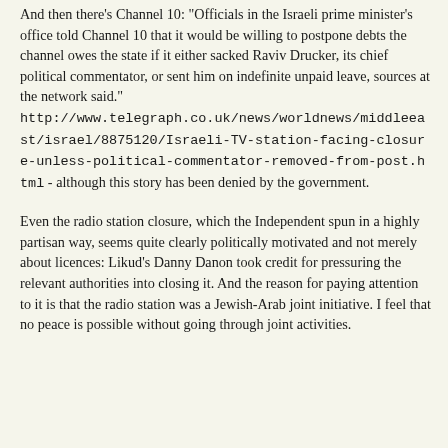And then there's Channel 10: "Officials in the Israeli prime minister's office told Channel 10 that it would be willing to postpone debts the channel owes the state if it either sacked Raviv Drucker, its chief political commentator, or sent him on indefinite unpaid leave, sources at the network said." http://www.telegraph.co.uk/news/worldnews/middleeast/israel/8875120/Israeli-TV-station-facing-closure-unless-political-commentator-removed-from-post.html - although this story has been denied by the government.
Even the radio station closure, which the Independent spun in a highly partisan way, seems quite clearly politically motivated and not merely about licences: Likud's Danny Danon took credit for pressuring the relevant authorities into closing it. And the reason for paying attention to it is that the radio station was a Jewish-Arab joint initiative. I feel that no peace is possible without going through joint activities.